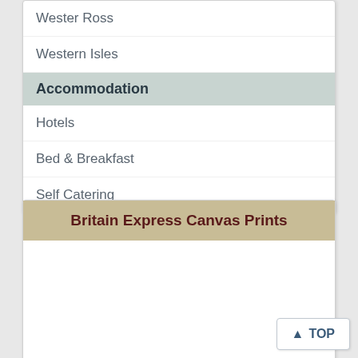Wester Ross
Western Isles
Accommodation
Hotels
Bed & Breakfast
Self Catering
Britain Express Canvas Prints